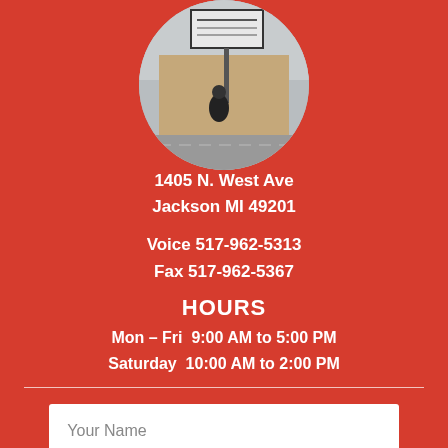[Figure (photo): Circular cropped photo showing an outdoor sign on a pole in front of a building, taken from a parking lot. Sky is overcast.]
1405 N. West Ave
Jackson MI 49201
Voice 517-962-5313
Fax 517-962-5367
HOURS
Mon – Fri  9:00 AM to 5:00 PM
Saturday  10:00 AM to 2:00 PM
Your Name
Your Email